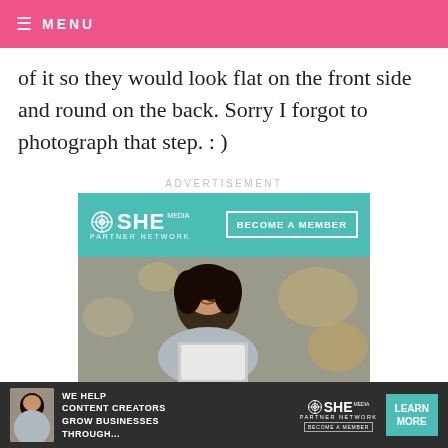≡ MENU
of it so they would look flat on the front side and round on the back. Sorry I forgot to photograph that step. : )
ADVERTISEMENT
[Figure (other): SHE Media Partner Network advertisement with teal background, logo, 'BECOME A MEMBER' button, photo of smiling woman with glasses holding a laptop, and text 'WE HELP CONTENT CREATORS GROW BUSINESSES THROUGH...']
[Figure (other): Bottom sticky SHE Media ad bar with small photo, text 'WE HELP CONTENT CREATORS GROW BUSINESSES THROUGH...', SHE Media logo, and 'LEARN MORE' button]